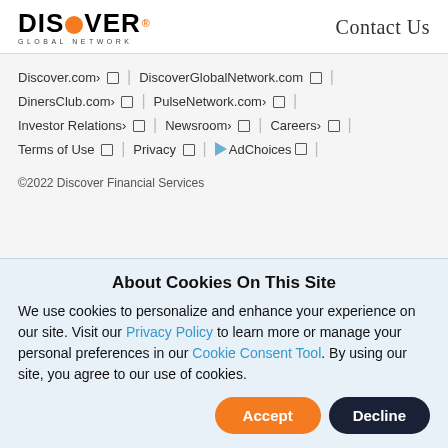DISCOVER GLOBAL NETWORK | Contact Us
Discover.com | DiscoverGlobalNetwork.com
DinersClub.com | PulseNetwork.com
Investor Relations | Newsroom | Careers
Terms of Use | Privacy | AdChoices
©2022 Discover Financial Services
About Cookies On This Site
We use cookies to personalize and enhance your experience on our site. Visit our Privacy Policy to learn more or manage your personal preferences in our Cookie Consent Tool. By using our site, you agree to our use of cookies.